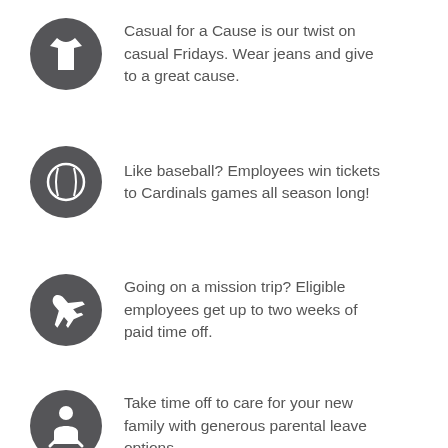Casual for a Cause is our twist on casual Fridays. Wear jeans and give to a great cause.
Like baseball? Employees win tickets to Cardinals games all season long!
Going on a mission trip? Eligible employees get up to two weeks of paid time off.
Take time off to care for your new family with generous parental leave options.